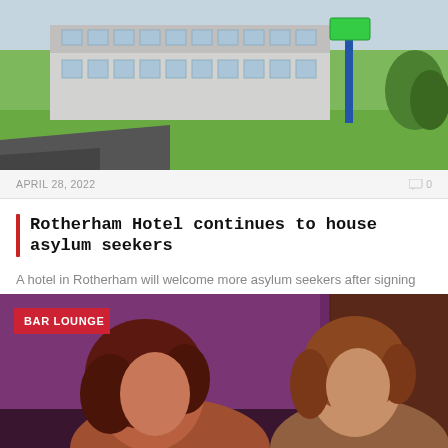[Figure (photo): Exterior photo of a hotel/building with green lawn in the foreground, grey building with windows visible, blue sign pole on the right, taken outdoors during daytime.]
APRIL 28, 2022
0
Rotherham Hotel continues to house asylum seekers
A hotel in Rotherham will welcome more asylum seekers after signing an agreement with the...
[Figure (photo): Two women sitting in what appears to be a bar lounge with purple walls. The woman on the left has dark reddish-brown hair and is shown in profile. The woman on the right has lighter auburn/brown hair and is looking slightly off camera. A red 'BAR LOUNGE' badge overlays the top-left of the image.]